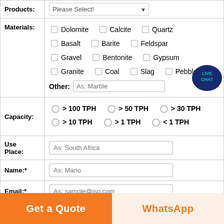| Field | Value |
| --- | --- |
| Products: | Please Select! [dropdown] |
| Materials: | Dolomite, Calcite, Quartz, Basalt, Barite, Feldspar, Gravel, Bentonite, Gypsum, Granite, Coal, Slag, Pebble, Other: As: Marble |
| Capacity: | > 100 TPH, > 50 TPH, > 30 TPH, > 10 TPH, > 1 TPH, < 1 TPH |
| Use Place: | As: South Africa |
| Name:* | As: Mario |
| Email:* | As: sample@isp.com |
| Phone: | As: 0086-21-51860251 |
Get a Quote
WhatsApp